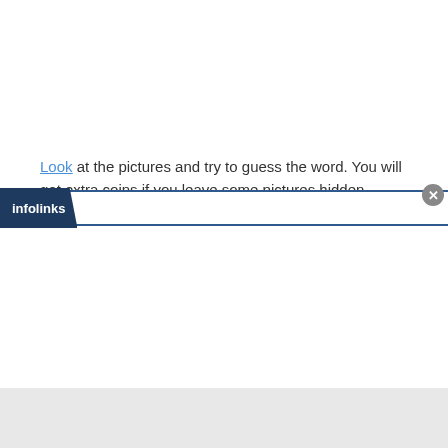Look at the pictures and try to guess the word. You will get extra coins if you leave some pictures hidden. back to 4 pics 1 word revolution answers list
[Figure (screenshot): Infolinks advertisement bar at bottom of page with close button]